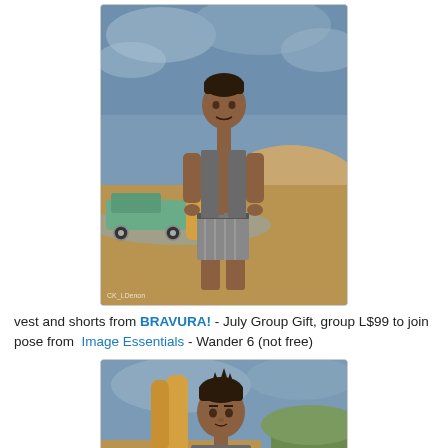[Figure (photo): A virtual 3D avatar male character standing on a beach in an open grey vest and striped shorts, with a hot rod car and surfboard visible in the background. Beach and ocean scenery. Watermark 'CK_LDenon' visible at bottom left of image.]
vest and shorts from BRAVURA! - July Group Gift, group L$99 to join
pose from  Image Essentials - Wander 6 (not free)
[Figure (photo): Close-up partial view of the same 3D avatar male character on the beach, showing head and upper torso, with surfboards and ocean/beach scenery behind him.]